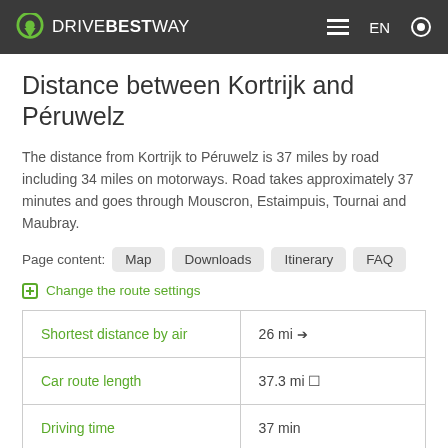DRIVEBESTWAY — EN — settings
Distance between Kortrijk and Péruwelz
The distance from Kortrijk to Péruwelz is 37 miles by road including 34 miles on motorways. Road takes approximately 37 minutes and goes through Mouscron, Estaimpuis, Tournai and Maubray.
Page content: Map  Downloads  Itinerary  FAQ
⊞ Change the route settings
| Shortest distance by air | 26 mi → |
| Car route length | 37.3 mi □ |
| Driving time | 37 min |